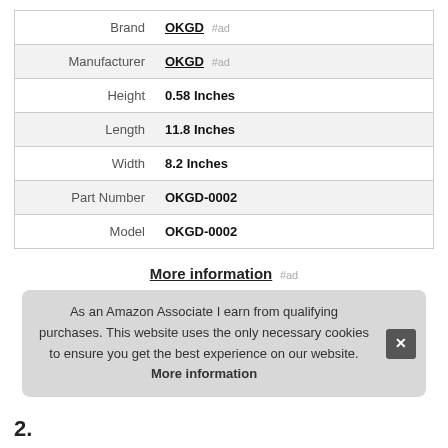|  |  |
| --- | --- |
| Brand | OKGD #ad |
| Manufacturer | OKGD #ad |
| Height | 0.58 Inches |
| Length | 11.8 Inches |
| Width | 8.2 Inches |
| Part Number | OKGD-0002 |
| Model | OKGD-0002 |
More information #ad
As an Amazon Associate I earn from qualifying purchases. This website uses the only necessary cookies to ensure you get the best experience on our website. More information